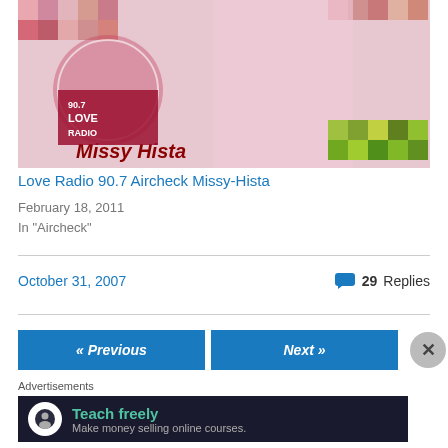[Figure (photo): Love Radio 90.7 Aircheck Missy-Hista promo image with colorful mosaic tile background and text 'Missy Hista' in red lettering]
Love Radio 90.7 Aircheck Missy-Hista
February 18, 2011
In "Aircheck"
October 31, 2007
29 Replies
« Previous
Next »
Advertisements
Teach freely
Make money selling online courses.